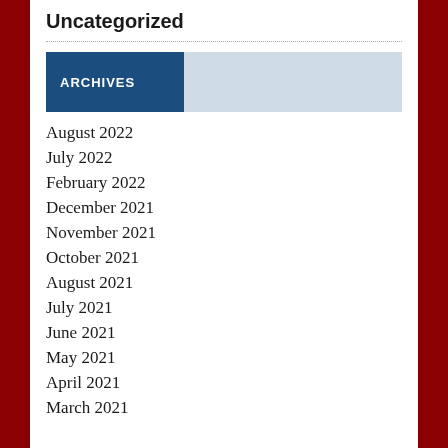Uncategorized
ARCHIVES
August 2022
July 2022
February 2022
December 2021
November 2021
October 2021
August 2021
July 2021
June 2021
May 2021
April 2021
March 2021